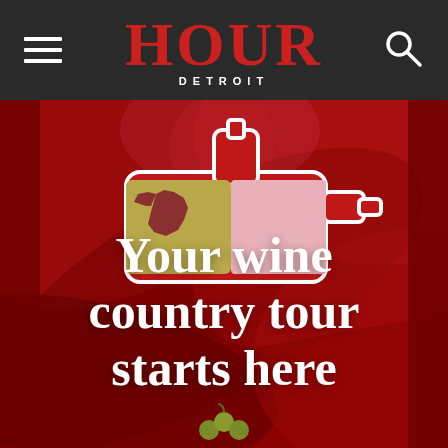HOUR DETROIT
[Figure (illustration): Hour Detroit magazine website header with logo, hamburger menu, and search icon on dark background. Below is a promotional image for Michigan wine country with a wine bottle graphic featuring the Michigan state silhouette on a label, set against a red abstract background, with white text reading 'Your wine country tour starts here' and a cherry/grape icon at the bottom.]
Your wine country tour starts here